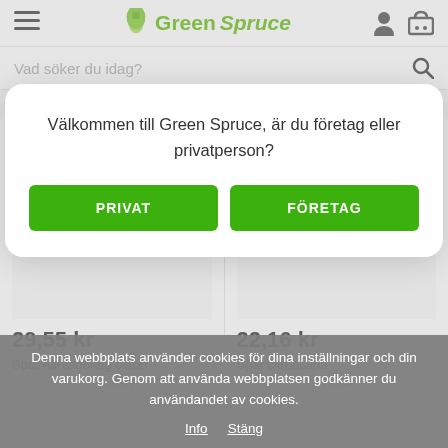Green Spruce — navigation header with hamburger menu, logo, user icon, cart icon
Vad söker du idag?
Välkommen till Green Spruce, är du företag eller privatperson?
PRIVAT
FÖRETAG
29,55 kr
Spar Allrengöring citron
22,16 kr
Spar citronsåpa
Denna webbplats använder cookies för dina inställningar och din varukorg. Genom att använda webbplatsen godkänner du användandet av cookies.
Info  Stäng